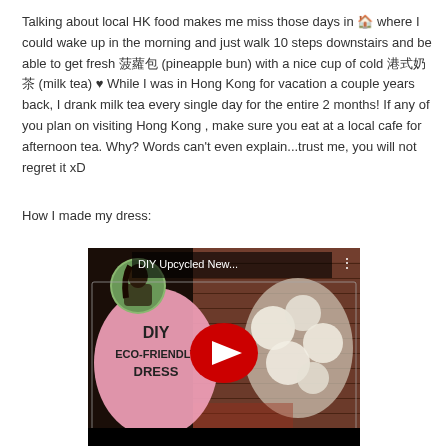Talking about local HK food makes me miss those days in 🏠 where I could wake up in the morning and just walk 10 steps downstairs and be able to get fresh 菠蘿包 (pineapple bun) with a nice cup of cold 港式奶茶 (milk tea) ♥ While I was in Hong Kong for vacation a couple years back, I drank milk tea every single day for the entire 2 months! If any of you plan on visiting Hong Kong , make sure you eat at a local cafe for afternoon tea. Why? Words can't even explain...trust me, you will not regret it xD
How I made my dress:
[Figure (screenshot): YouTube video thumbnail for 'DIY Upcycled New...' showing a DIY Eco-Friendly Dress graphic with a pink oval, a woman's profile photo, and a white flower arrangement on a brick background. A red YouTube play button is centered on the thumbnail.]